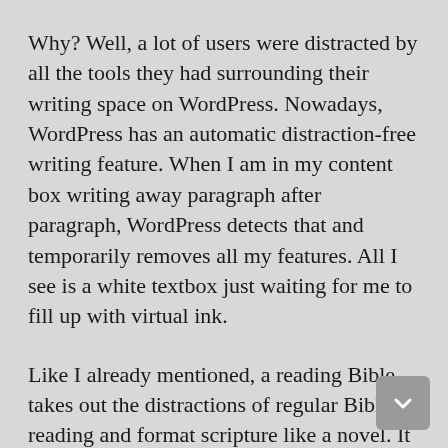Why? Well, a lot of users were distracted by all the tools they had surrounding their writing space on WordPress. Nowadays, WordPress has an automatic distraction-free writing feature. When I am in my content box writing away paragraph after paragraph, WordPress detects that and temporarily removes all my features. All I see is a white textbox just waiting for me to fill up with virtual ink.
Like I already mentioned, a reading Bible takes out the distractions of regular Bible reading and format scripture like a novel. It makes reading the Word of God a seamless and simple experience. It allows the reader to get lost in the story and message of scripture. No extra shiny objects to distract from allowing God to speak to